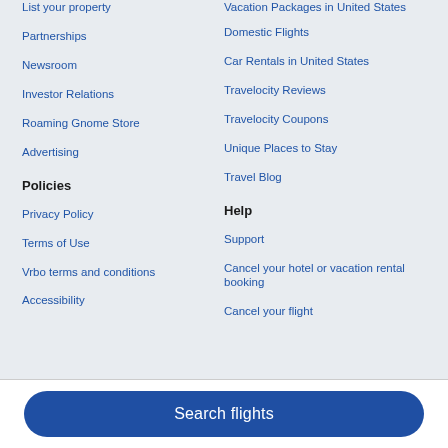List your property
Partnerships
Newsroom
Investor Relations
Roaming Gnome Store
Advertising
Vacation Packages in United States
Domestic Flights
Car Rentals in United States
Travelocity Reviews
Travelocity Coupons
Unique Places to Stay
Travel Blog
Policies
Help
Privacy Policy
Support
Terms of Use
Cancel your hotel or vacation rental booking
Vrbo terms and conditions
Cancel your flight
Accessibility
Search flights